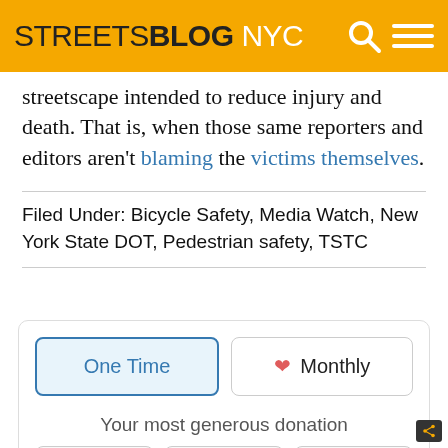STREETSBLOG NYC
streetscape intended to reduce injury and death. That is, when those same reporters and editors aren’t blaming the victims themselves.
Filed Under: Bicycle Safety, Media Watch, New York State DOT, Pedestrian safety, TSTC
[Figure (infographic): Donation widget with One Time and Monthly buttons, and 'Your most generous donation' label, with amount selection buttons at the bottom.]